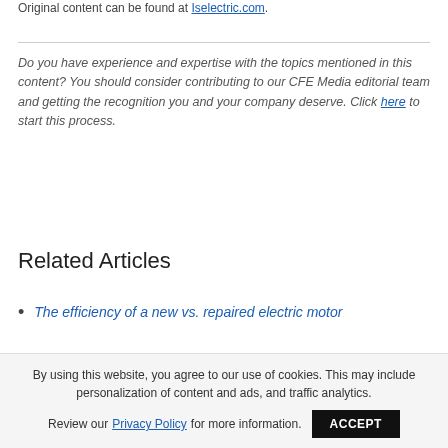Original content can be found at Iselectric.com.
Do you have experience and expertise with the topics mentioned in this content? You should consider contributing to our CFE Media editorial team and getting the recognition you and your company deserve. Click here to start this process.
Related Articles
The efficiency of a new vs. repaired electric motor
By using this website, you agree to our use of cookies. This may include personalization of content and ads, and traffic analytics. Review our Privacy Policy for more information. ACCEPT